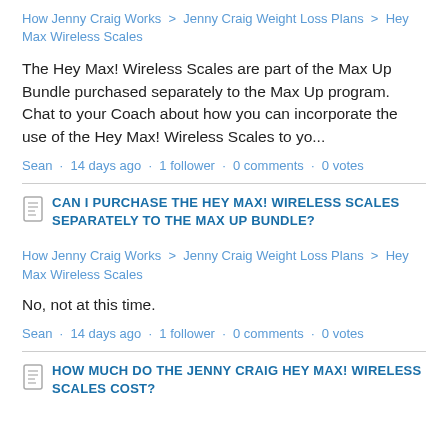How Jenny Craig Works  >  Jenny Craig Weight Loss Plans  >  Hey Max Wireless Scales
The Hey Max! Wireless Scales are part of the Max Up Bundle purchased separately to the Max Up program. Chat to your Coach about how you can incorporate the use of the Hey Max! Wireless Scales to yo...
Sean · 14 days ago · 1 follower · 0 comments · 0 votes
CAN I PURCHASE THE HEY MAX! WIRELESS SCALES SEPARATELY TO THE MAX UP BUNDLE?
How Jenny Craig Works  >  Jenny Craig Weight Loss Plans  >  Hey Max Wireless Scales
No, not at this time.
Sean · 14 days ago · 1 follower · 0 comments · 0 votes
HOW MUCH DO THE JENNY CRAIG HEY MAX! WIRELESS SCALES COST?